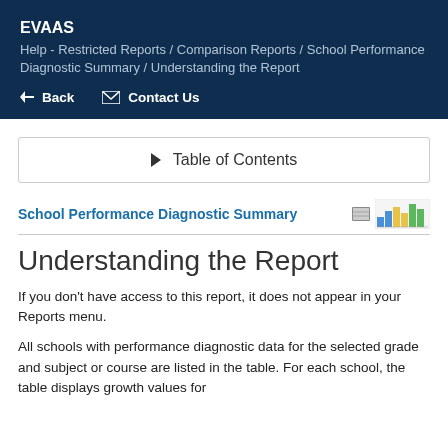EVAAS
Help - Restricted Reports / Comparison Reports / School Performance Diagnostic Summary / Understanding the Report
← Back   ✉ Contact Us
▶ Table of Contents
School Performance Diagnostic Summary
Understanding the Report
If you don't have access to this report, it does not appear in your Reports menu.
All schools with performance diagnostic data for the selected grade and subject or course are listed in the table. For each school, the table displays growth values for